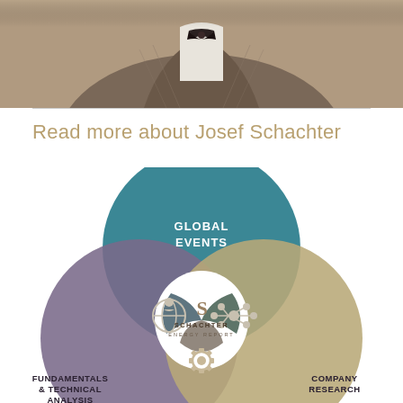[Figure (photo): Close-up photo of a man wearing a brown/grey plaid jacket and white shirt with a bow tie — cropped at chest level]
Read more about Josef Schachter
[Figure (infographic): Venn diagram showing three overlapping circles representing: Global Events (teal, top), Fundamentals & Technical Analysis (purple, bottom-left), and Company Research (tan/khaki, bottom-right). In the center where all three overlap is the Schachter Energy Report logo. Intersection regions contain icons: globe with person figure (left), network/molecule icon (right), and gear icon (bottom). The center white region contains the Schachter Energy Report 'S' logo and text.]